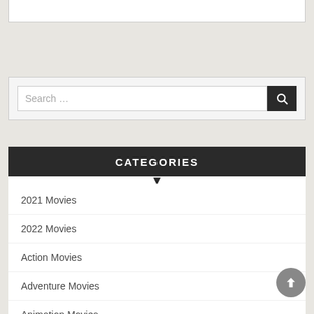[Figure (screenshot): Top portion of a white content box, partially visible at the top of the page]
[Figure (screenshot): Search bar with text 'Search ...' and a dark search button with magnifying glass icon]
CATEGORIES
2021 Movies
2022 Movies
Action Movies
Adventure Movies
Animation Movies
Batflix Movies
Biography Movies